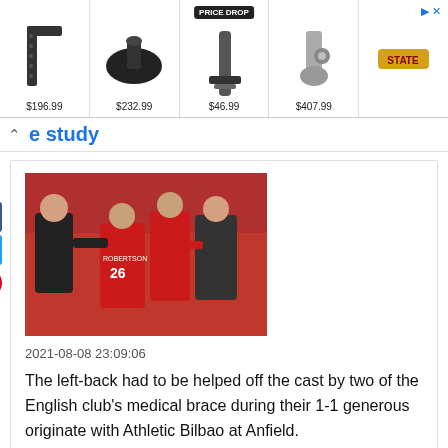[Figure (infographic): Advertisement banner with product images and prices: $196.99, $232.99, $46.99 (PRICE DROP), $407.99, plus a logo. Arrow icon top right.]
e study
[Figure (photo): Football players in red Liverpool jerseys hugging each other, one wearing number 26 with ROBERTSON on the back.]
2021-08-08 23:09:06
The left-back had to be helped off the cast by two of the English club's medical brace during their 1-1 generous originate with Athletic Bilbao at Anfield.